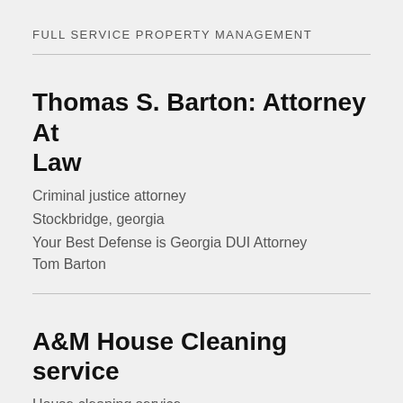FULL SERVICE PROPERTY MANAGEMENT
Thomas S. Barton: Attorney At Law
Criminal justice attorney
Stockbridge, georgia
Your Best Defense is Georgia DUI Attorney Tom Barton
A&M House Cleaning service
House cleaning service
East Orange, New Jersey
A&M House Cleaning service focus on